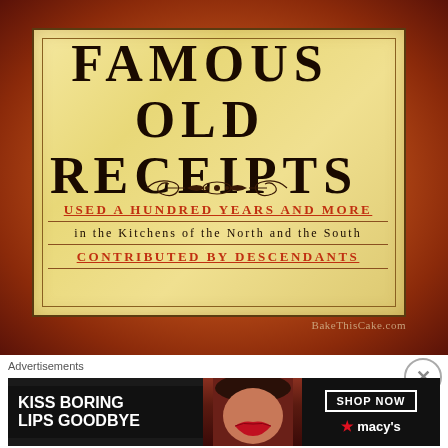[Figure (illustration): Book cover for 'Famous Old Receipts' with orange/brown radial gradient background. Inner parchment-colored rectangle with border contains the title 'FAMOUS OLD RECEIPTS' in large serif type, a decorative flourish, and subtitles: 'USED A HUNDRED YEARS AND MORE' in red, 'in the Kitchens of the North and the South' in black, 'CONTRIBUTED BY DESCENDANTS' in red. Watermark 'BakeThisCake.com' in lower right corner.]
Advertisements
[Figure (screenshot): Advertisement banner with dark background. Left side shows text 'KISS BORING LIPS GOODBYE' in white bold font. Center shows a woman's face with red lips. Right side shows 'SHOP NOW' button and Macy's star logo on dark background.]